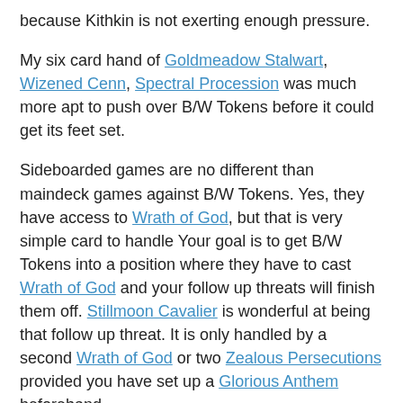because Kithkin is not exerting enough pressure.
My six card hand of Goldmeadow Stalwart, Wizened Cenn, Spectral Procession was much more apt to push over B/W Tokens before it could get its feet set.
Sideboarded games are no different than maindeck games against B/W Tokens. Yes, they have access to Wrath of God, but that is very simple card to handle Your goal is to get B/W Tokens into a position where they have to cast Wrath of God and your follow up threats will finish them off. Stillmoon Cavalier is wonderful at being that follow up threat. It is only handled by a second Wrath of God or two Zealous Persecutions provided you have set up a Glorious Anthem beforehand.
Path to Exile comes out due to a lack of relevant targets. Kitchen Finks and Murderous Redcap are both average targets, but neither card is a really big problem for Kithkin. The mana acceleration you're providing your opponent